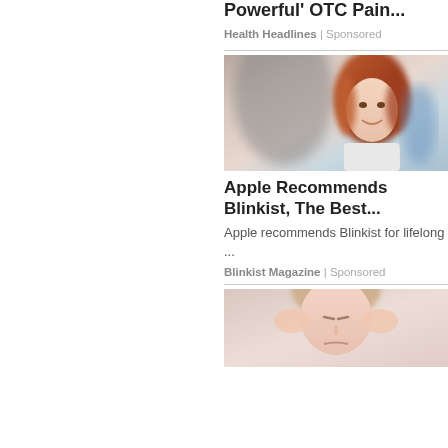Powerful' OTC Pain...
Health Headlines | Sponsored
[Figure (photo): Smiling woman with red hair in an office or bright indoor setting]
Apple Recommends Blinkist, The Best...
Apple recommends Blinkist for lifelong ...
Blinkist Magazine | Sponsored
[Figure (photo): Woman with hands on her temples, eyes closed, appearing stressed or with a headache]